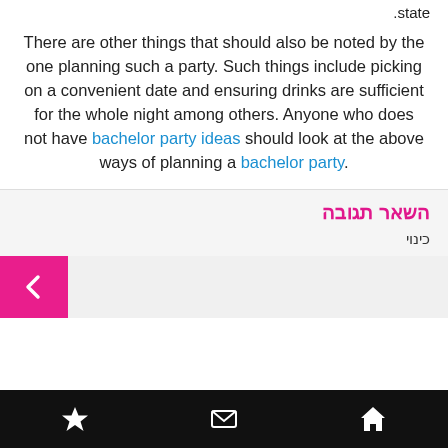.state
There are other things that should also be noted by the one planning such a party. Such things include picking on a convenient date and ensuring drinks are sufficient for the whole night among others. Anyone who does not have bachelor party ideas should look at the above ways of planning a bachelor party.
השאר תגובה
כינוי
Navigation bar with star, mail, and home icons